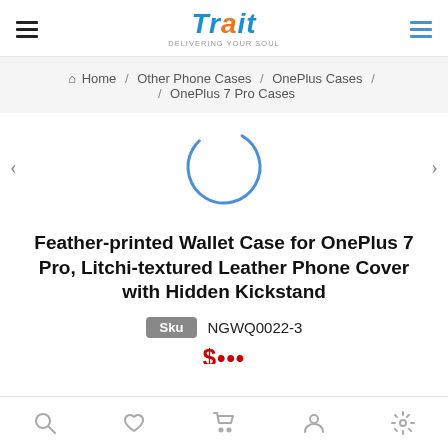Trait — mobile e-commerce website header with navigation
Home / Other Phone Cases / OnePlus Cases / OnePlus 7 Pro Cases
[Figure (other): Loading spinner circle (blue arc) indicating product image is loading, with left and right navigation arrows on either side]
Feather-printed Wallet Case for OnePlus 7 Pro, Litchi-textured Leather Phone Cover with Hidden Kickstand
Sku  NGWQ0022-3
$... (price partially visible)
Bottom navigation bar with search, wishlist, cart, account, and settings icons